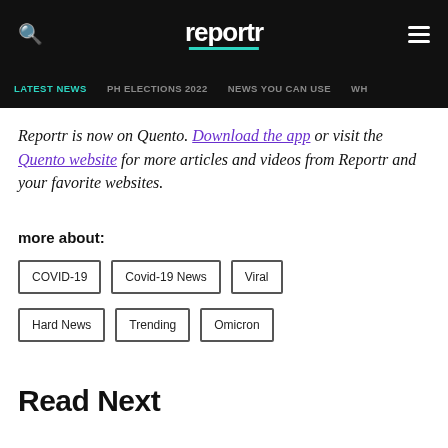reportr
LATEST NEWS | PH ELECTIONS 2022 | NEWS YOU CAN USE | WH...
Reportr is now on Quento. Download the app or visit the Quento website for more articles and videos from Reportr and your favorite websites.
more about:
COVID-19
Covid-19 News
Viral
Hard News
Trending
Omicron
Read Next